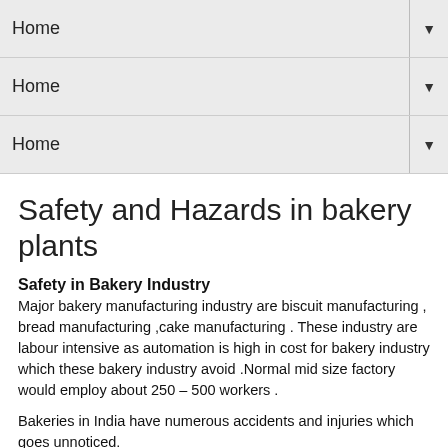Home
Home
Home
Safety and Hazards in bakery plants
Safety in Bakery Industry
Major bakery manufacturing industry are biscuit manufacturing , bread manufacturing ,cake manufacturing . These industry are labour intensive as automation is high in cost for bakery industry which these bakery industry avoid .Normal mid size factory would employ about 250 – 500 workers .
Bakeries in India have numerous accidents and injuries which goes unnoticed.
In India we have around small and medium bakery plants which produces various bakery products . Most the bigger manufacturer have outsourced manufacturing from Contract manufacturers , these contract manufacturers are not